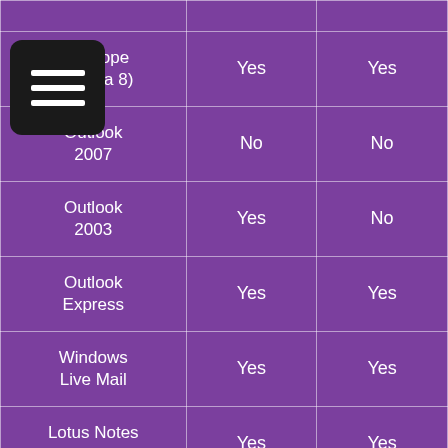| Email Client | Column 2 | Column 3 |
| --- | --- | --- |
|  |  |  |
| Penelope (Eudora 8) | Yes | Yes |
| Outlook 2007 | No | No |
| Outlook 2003 | Yes | No |
| Outlook Express | Yes | Yes |
| Windows Live Mail | Yes | Yes |
| Lotus Notes 8 | Yes | Yes |